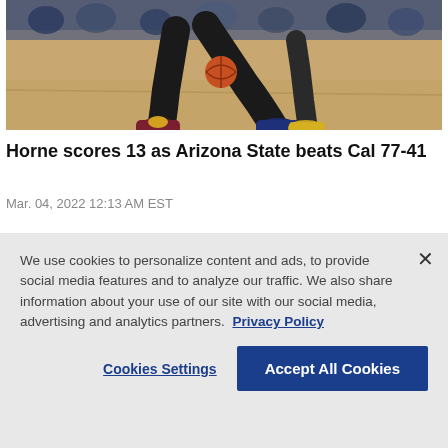[Figure (photo): Basketball player's legs mid-dribble on a hardwood court, wearing maroon and gold shoes, with a basketball visible]
Horne scores 13 as Arizona State beats Cal 77-41
Mar. 04, 2022 12:13 AM EST
[Figure (photo): Partial view of a basketball arena with red-clad crowd in the background]
We use cookies to personalize content and ads, to provide social media features and to analyze our traffic. We also share information about your use of our site with our social media, advertising and analytics partners. Privacy Policy
Cookies Settings | Accept All Cookies